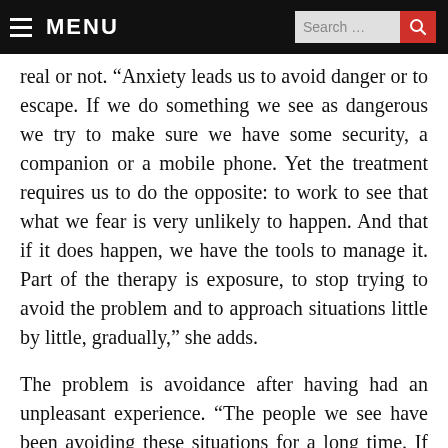≡ MENU   Search...
real or not. “Anxiety leads us to avoid danger or to escape. If we do something we see as dangerous we try to make sure we have some security, a companion or a mobile phone. Yet the treatment requires us to do the opposite: to work to see that what we fear is very unlikely to happen. And that if it does happen, we have the tools to manage it. Part of the therapy is exposure, to stop trying to avoid the problem and to approach situations little by little, gradually,” she adds.
The problem is avoidance after having had an unpleasant experience. “The people we see have been avoiding these situations for a long time. If we understood the mechanics of anxiety, if we were taught it, we wouldn’t suffer half the problems we do. We’d see when we’re anxious and would understand what’s happening to us.” It is the same with the fear of social interaction, the fear of being re-